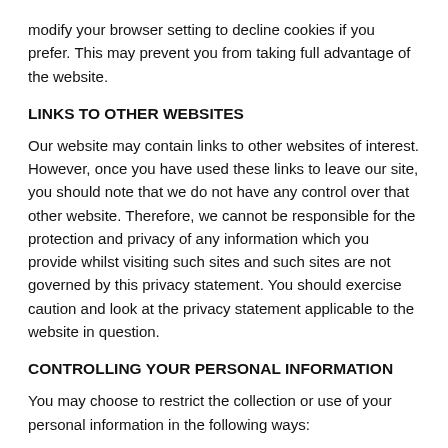modify your browser setting to decline cookies if you prefer. This may prevent you from taking full advantage of the website.
LINKS TO OTHER WEBSITES
Our website may contain links to other websites of interest. However, once you have used these links to leave our site, you should note that we do not have any control over that other website. Therefore, we cannot be responsible for the protection and privacy of any information which you provide whilst visiting such sites and such sites are not governed by this privacy statement. You should exercise caution and look at the privacy statement applicable to the website in question.
CONTROLLING YOUR PERSONAL INFORMATION
You may choose to restrict the collection or use of your personal information in the following ways:
whenever you are asked to fill in a form on the website, (if